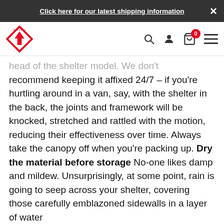Click here for our latest shipping information
[Figure (logo): Shop & Store logo — red diamond arrow shape with brand name]
head of the shelter model. We don't recommend keeping it affixed 24/7 – if you're hurtling around in a van, say, with the shelter in the back, the joints and framework will be knocked, stretched and rattled with the motion, reducing their effectiveness over time. Always take the canopy off when you're packing up. Dry the material before storage No-one likes damp and mildew. Unsurprisingly, at some point, rain is going to seep across your shelter, covering those carefully emblazoned sidewalls in a layer of water